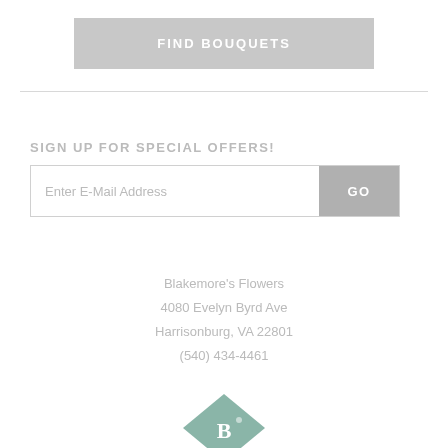FIND BOUQUETS
SIGN UP FOR SPECIAL OFFERS!
Enter E-Mail Address
GO
Blakemore's Flowers
4080 Evelyn Byrd Ave
Harrisonburg, VA 22801
(540) 434-4461
[Figure (logo): Blakemore's Flowers logo — teal/green diamond shape with letter B visible at bottom of page]